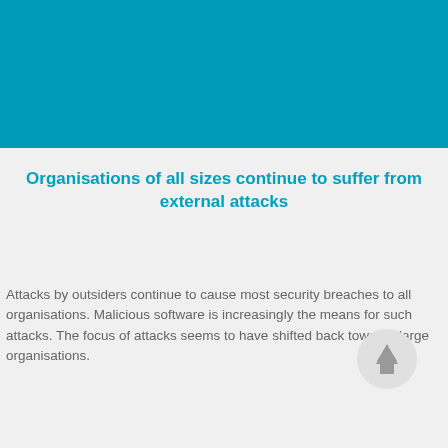[Figure (other): Teal/cyan colored banner background at the top of the page]
Organisations of all sizes continue to suffer from external attacks
Attacks by outsiders continue to cause most security breaches to all organisations. Malicious software is increasingly the means for such attacks. The focus of attacks seems to have shifted back towards large organisations.
[Figure (other): Circular arrow-up navigation button]